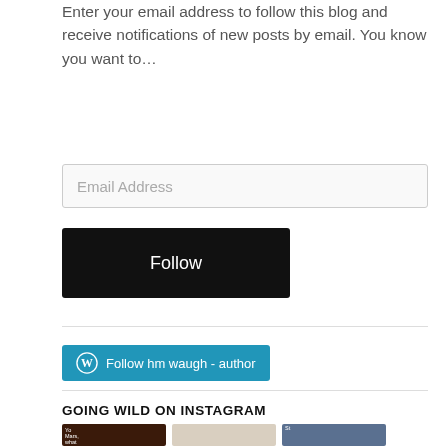Enter your email address to follow this blog and receive notifications of new posts by email. You know you want to…
Email Address
Follow
Follow hm waugh - author
GOING WILD ON INSTAGRAM
[Figure (photo): Three Instagram thumbnail photos: a Mars planet image with text 'Yo Mars, what', a bulletin board with papers/logos, and a person speaking in front of a display with text 'St... nce & ...on']